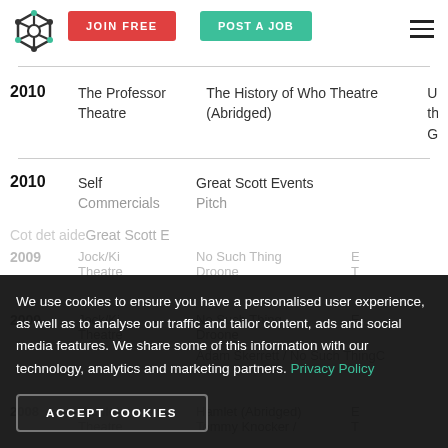JOIN FREE | POST A JOB
| Year | Role | Production | Details |
| --- | --- | --- | --- |
| 2010 | The Professor Theatre | The History of Who Theatre (Abridged) | U th G |
| 2010 | Self Commercials | Great Scott Events Pitch |  |
| 2009 | Jock/Ki Theatre | No Such Thing Droone | T |
|  |  | Adam Skerrett / No Such Thing | C |
| 2008 | Hamlet Theatre | Hamlet (Abridged) Tommy Knocker / | E T |
We use cookies to ensure you have a personalised user experience, as well as to analyse our traffic and tailor content, ads and social media features. We share some of this information with our technology, analytics and marketing partners. Privacy Policy
ACCEPT COOKIES